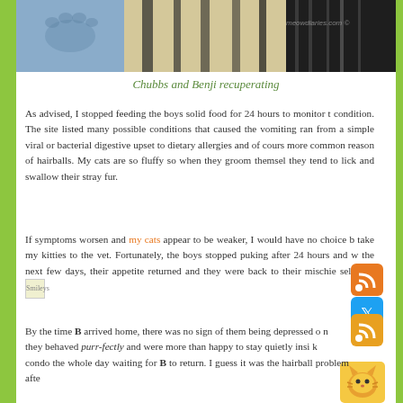[Figure (photo): Partial photo of cats recuperating, showing blue/grey fur and striped surface, with meowdiaries.com watermark]
Chubbs and Benji recuperating
As advised, I stopped feeding the boys solid food for 24 hours to monitor their condition. The site listed many possible conditions that caused the vomiting ranging from a simple viral or bacterial digestive upset to dietary allergies and of course the more common reason of hairballs. My cats are so fluffy so when they groom themselves they tend to lick and swallow their stray fur.
If symptoms worsen and my cats appear to be weaker, I would have no choice but to take my kitties to the vet. Fortunately, the boys stopped puking after 24 hours and within the next few days, their appetite returned and they were back to their mischievous selves! [Smileys]
By the time B arrived home, there was no sign of them being depressed or ill; they behaved purr-fectly and were more than happy to stay quietly inside their kitty condo the whole day waiting for B to return. I guess it was the hairball problem afte